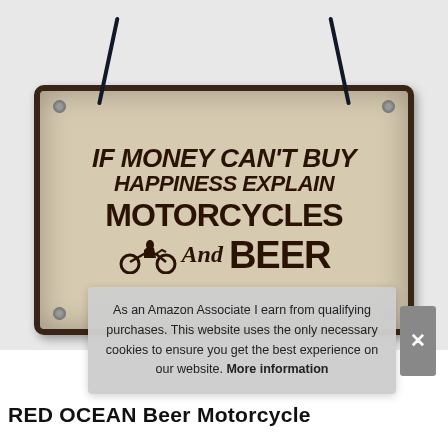[Figure (photo): A novelty hanging wooden sign with cream/beige background and dark brown text reading: IF MONEY CAN'T BUY HAPPINESS EXPLAIN MOTORCYCLES And BEER, with a motorcycle and rider silhouette graphic. Sign is hung by dark rope/cord.]
As an Amazon Associate I earn from qualifying purchases. This website uses the only necessary cookies to ensure you get the best experience on our website. More information
RED OCEAN Beer Motorcycle